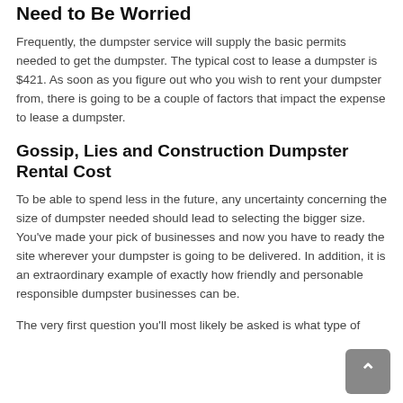Need to Be Worried
Frequently, the dumpster service will supply the basic permits needed to get the dumpster. The typical cost to lease a dumpster is $421. As soon as you figure out who you wish to rent your dumpster from, there is going to be a couple of factors that impact the expense to lease a dumpster.
Gossip, Lies and Construction Dumpster Rental Cost
To be able to spend less in the future, any uncertainty concerning the size of dumpster needed should lead to selecting the bigger size. You've made your pick of businesses and now you have to ready the site wherever your dumpster is going to be delivered. In addition, it is an extraordinary example of exactly how friendly and personable responsible dumpster businesses can be.
The very first question you'll most likely be asked is what type of